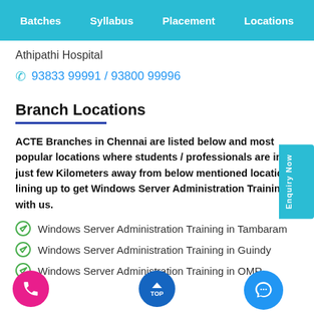Batches  Syllabus  Placement  Locations
Athipathi Hospital
93833 99991 / 93800 99996
Branch Locations
ACTE Branches in Chennai are listed below and most popular locations where students / professionals are in just few Kilometers away from below mentioned locations lining up to get Windows Server Administration Training with us.
Windows Server Administration Training in Tambaram
Windows Server Administration Training in Guindy
Windows Server Administration Training in OMR